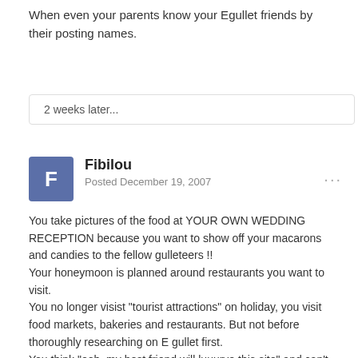When even your parents know your Egullet friends by their posting names.
2 weeks later...
Fibilou
Posted December 19, 2007
You take pictures of the food at YOUR OWN WEDDING RECEPTION because you want to show off your macarons and candies to the fellow gulleteers !!
Your honeymoon is planned around restaurants you want to visit.
You no longer visist "tourist attractions" on holiday, you visit food markets, bakeries and restaurants. But not before thoroughly researching on E gullet first.
You think "ooh, my best friend will luuurve this site" and can't wait to tell her
Edited December 19, 2007 by Fibilou (log)